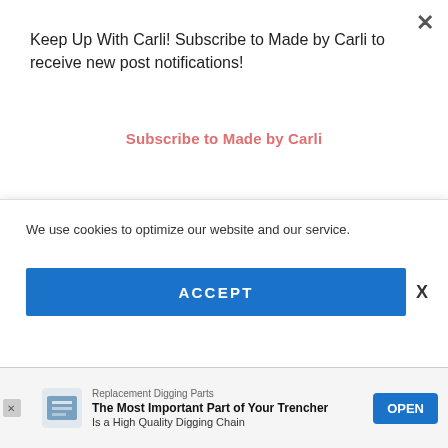Keep Up With Carli! Subscribe to Made by Carli to receive new post notifications!
Subscribe to Made by Carli
[Figure (photo): A horizontal strip of five Pinterest-style home and food photos: seafood/vegetables, food spread on a board, modern bathroom with glass shower, bathroom with freestanding tub, and a plant/kitchen scene.]
Follow on Pinterest
We use cookies to optimize our website and our service.
ACCEPT
Replacement Digging Parts
The Most Important Part of Your Trencher Is a High Quality Digging Chain
OPEN